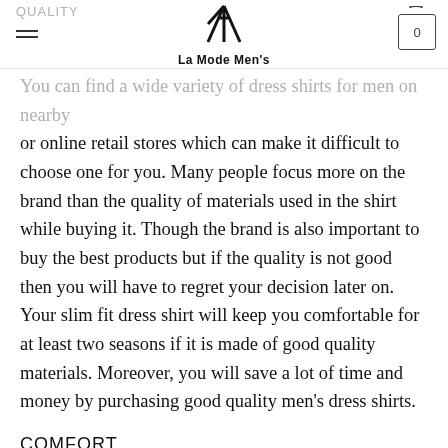QUALITY | La Mode Men's [navigation bar with logo and cart]
You can find a wide variety of dress shirts for men on nearby or online retail stores which can make it difficult to choose one for you. Many people focus more on the brand than the quality of materials used in the shirt while buying it. Though the brand is also important to buy the best products but if the quality is not good then you will have to regret your decision later on. Your slim fit dress shirt will keep you comfortable for at least two seasons if it is made of good quality materials. Moreover, you will save a lot of time and money by purchasing good quality men's dress shirts.
COMFORT
The second important factor to consider while buying a slim fit dress shirt is its comfort level. If your shirt fits properly at all the important places then it can be the right one for you.